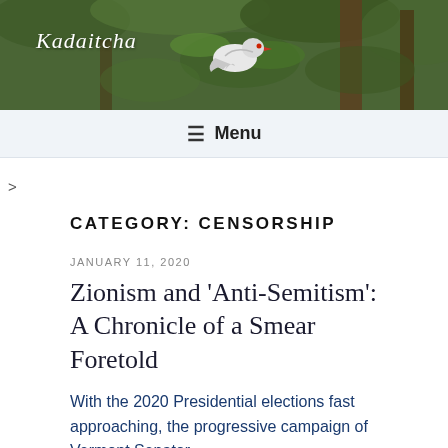[Figure (photo): Header image of a bird (white pigeon/dove) among green foliage and tree trunks, with the blog title 'Kadaitcha' overlaid in italic white text on the left.]
≡ Menu
>
CATEGORY: CENSORSHIP
JANUARY 11, 2020
Zionism and 'Anti-Semitism': A Chronicle of a Smear Foretold
With the 2020 Presidential elections fast approaching, the progressive campaign of Vermont Senator Bernie Sanders has